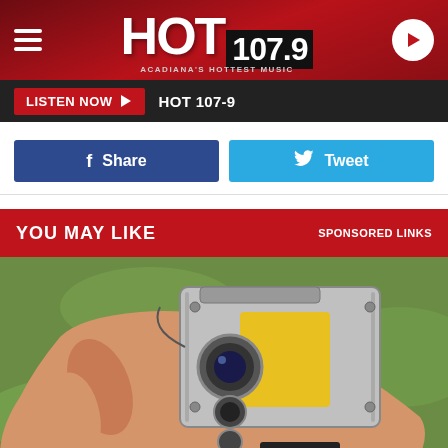HOT 107.9 - Acadiana's Hottest Music
LISTEN NOW ▶  HOT 107-9
Share
Tweet
YOU MAY LIKE   SPONSORED LINKS
[Figure (photo): Hand holding a GoPro-style action camera in a protective yellow and silver housing, outdoors with green grass background]